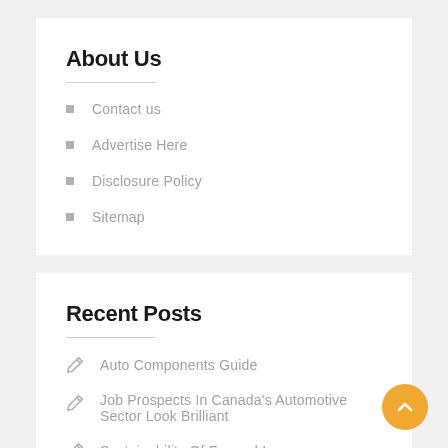About Us
Contact us
Advertise Here
Disclosure Policy
Sitemap
Recent Posts
Auto Components Guide
Job Prospects In Canada's Automotive Sector Look Brilliant
Sustainability Of Farmed Ice…